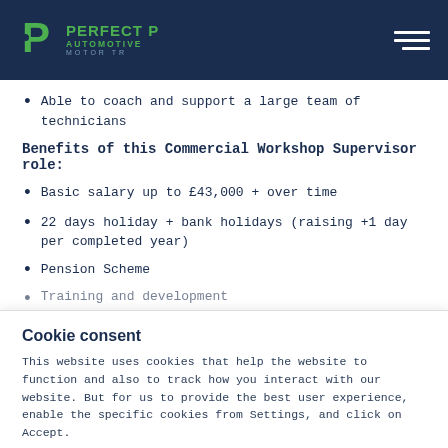[Figure (logo): Perfect P Automotive Motor Trade logo with green letter P icon on dark navy background, with hamburger menu icon on the right]
Able to coach and support a large team of technicians
Benefits of this Commercial Workshop Supervisor role:
Basic salary up to £43,000 + over time
22 days holiday + bank holidays (raising +1 day per completed year)
Pension Scheme
Training and development
Cookie consent
This website uses cookies that help the website to function and also to track how you interact with our website. But for us to provide the best user experience, enable the specific cookies from Settings, and click on Accept.